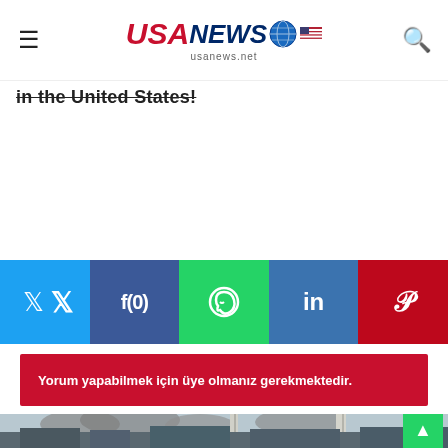USANews - usanews.net
in the United States!
[Figure (infographic): Social media share buttons: Twitter, Facebook (0), WhatsApp, LinkedIn, Pinterest]
Yorum yapabilmek için üye olmanız gerekmektedir.
[Figure (photo): Industrial facility with smokestacks and smoke rising, war/conflict scene]